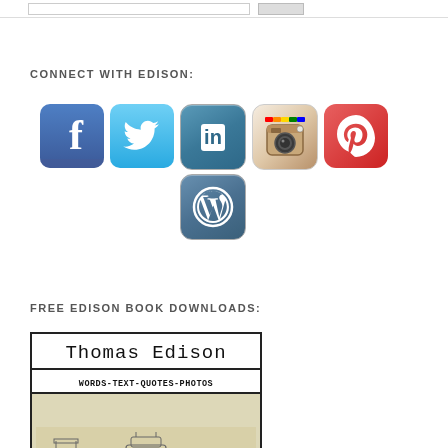CONNECT WITH EDISON:
[Figure (illustration): Six social media icons: Facebook, Twitter, LinkedIn, Instagram, Pinterest, WordPress]
FREE EDISON BOOK DOWNLOADS:
[Figure (illustration): Book cover for Thomas Edison: Words-Text-Quotes-Photos with vintage machinery image at bottom]